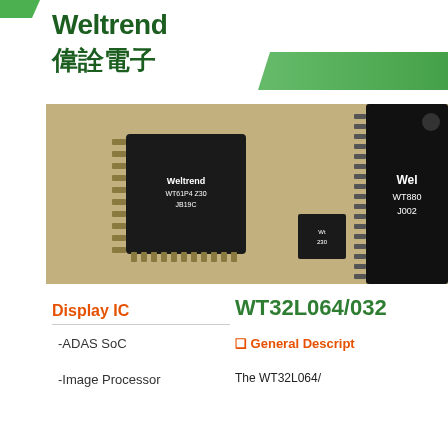[Figure (logo): Weltrend logo with English text 'Weltrend' and Chinese characters '偉詮電子' in dark green]
[Figure (photo): Photograph of Weltrend IC chips on a beige/tan surface, showing WT61P4 chip on the left and WT880 chip on the right]
Display IC
-ADAS SoC
-Image Processor
WT32L064/032
❑ General Description
The WT32L064/